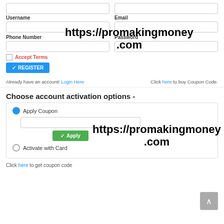[Figure (screenshot): Registration form with username, email, phone number, password fields, accept terms checkbox, register button, and account activation options with coupon code input. Watermark 'https://promakingmoney.com' overlaid.]
Username
Email
Phone Number
Password
Accept Terms
REGISTER
Already have an account! Login Here
Click here to buy Coupon Code.
Choose account activation options -
Apply Coupon
Apply
Activate with Card
Click here to get coupon code